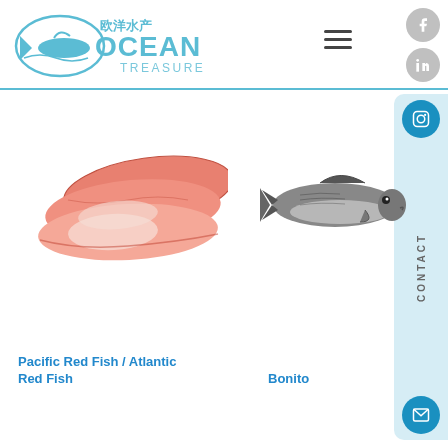[Figure (logo): Ocean Treasure logo with fish icon and Chinese characters 欧洋水产, circular blue design]
[Figure (photo): Red fish fillets (Pacific Red Fish / Atlantic Red Fish) - pink/red colored raw fish fillets on white background]
[Figure (photo): Bonito fish - whole dark grey/silver fish on white background]
Pacific Red Fish / Atlantic Red Fish
Bonito